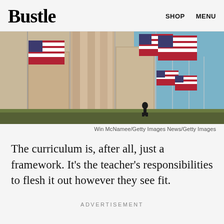Bustle  SHOP  MENU
[Figure (photo): Photograph of American flags flying near the Washington Monument, with a silhouette of a person visible. Photo taken at dusk/golden hour.]
Win McNamee/Getty Images News/Getty Images
The curriculum is, after all, just a framework. It's the teacher's responsibilities to flesh it out however they see fit.
ADVERTISEMENT